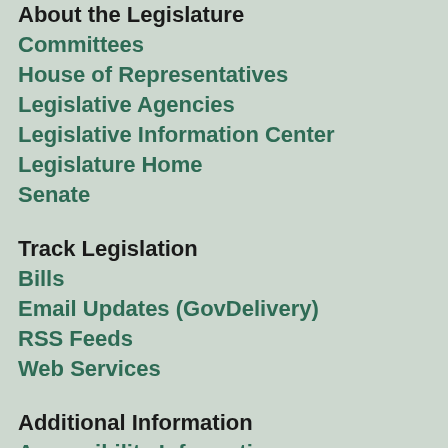About the Legislature
Committees
House of Representatives
Legislative Agencies
Legislative Information Center
Legislature Home
Senate
Track Legislation
Bills
Email Updates (GovDelivery)
RSS Feeds
Web Services
Additional Information
Accessibility Information
Civic Education
Comments about this site